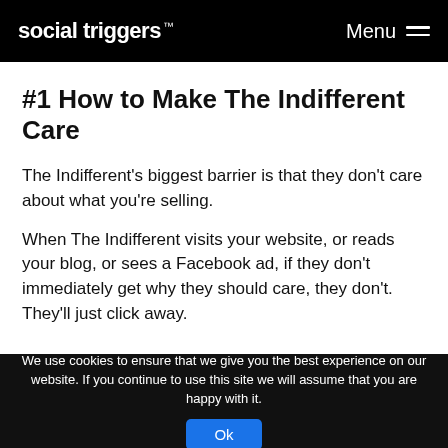social triggers ™  Menu
#1 How to Make The Indifferent Care
The Indifferent's biggest barrier is that they don't care about what you're selling.
When The Indifferent visits your website, or reads your blog, or sees a Facebook ad, if they don't immediately get why they should care, they don't. They'll just click away.
We use cookies to ensure that we give you the best experience on our website. If you continue to use this site we will assume that you are happy with it. Ok